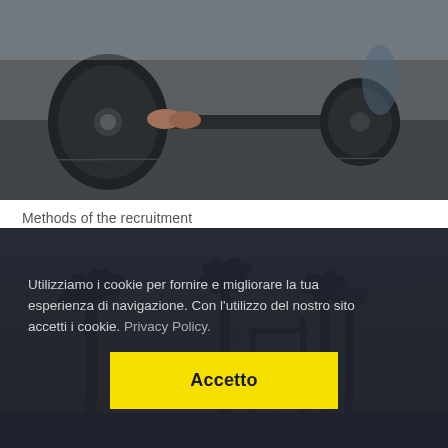[Figure (photo): Close-up of a person gripping a heavy barbell with weight plates in a gym setting]
Methods of the recruitment
[Figure (photo): Outdoor fitness area at sunset with palm trees silhouetted against a golden sky]
Utilizziamo i cookie per fornire e migliorare la tua esperienza di navigazione. Con l'utilizzo del nostro sito accetti i cookie. Privacy Policy.
Accetto